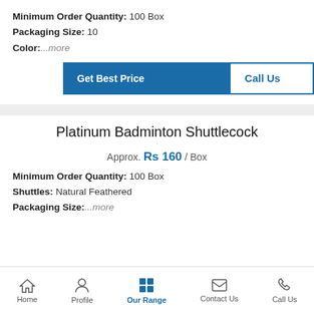Minimum Order Quantity: 100 Box
Packaging Size: 10
Color:...more
Get Best Price | Call Us
Platinum Badminton Shuttlecock
Approx. Rs 160 / Box
Minimum Order Quantity: 100 Box
Shuttles: Natural Feathered
Packaging Size:...more
Get Best Price | Call Us
Home | Profile | Our Range | Contact Us | Call Us